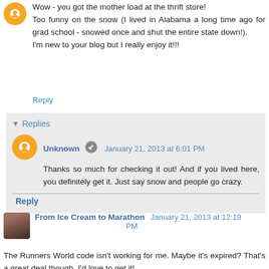Wow - you got the mother load at the thrift store! Too funny on the snow (I lived in Alabama a long time ago for grad school - snowed once and shut the entire state down!). I'm new to your blog but I really enjoy it!!!
Reply
Replies
Unknown  January 21, 2013 at 6:01 PM
Thanks so much for checking it out! And if you lived here, you definitely get it. Just say snow and people go crazy.
Reply
From Ice Cream to Marathon  January 21, 2013 at 12:19 PM
The Runners World code isn't working for me. Maybe it's expired? That's a great deal though, I'd love to get it!